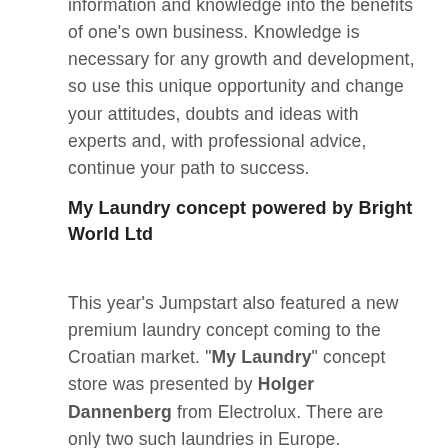information and knowledge into the benefits of one's own business. Knowledge is necessary for any growth and development, so use this unique opportunity and change your attitudes, doubts and ideas with experts and, with professional advice, continue your path to success.
My Laundry concept powered by Bright World Ltd
This year's Jumpstart also featured a new premium laundry concept coming to the Croatian market. "My Laundry" concept store was presented by Holger Dannenberg from Electrolux. There are only two such laundries in Europe. Therefore, there is a huge opportunity for the first owner of the best environment-